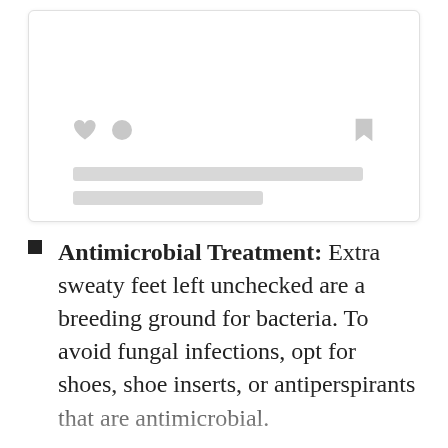[Figure (screenshot): A UI card placeholder with like/circle icons on the left, a bookmark icon on the right, and two gray placeholder lines below, suggesting a social media or app card skeleton.]
Antimicrobial Treatment: Extra sweaty feet left unchecked are a breeding ground for bacteria. To avoid fungal infections, opt for shoes, shoe inserts, or antiperspirants that are antimicrobial.
Temperature-regulating Technology: This is especially important in a winter